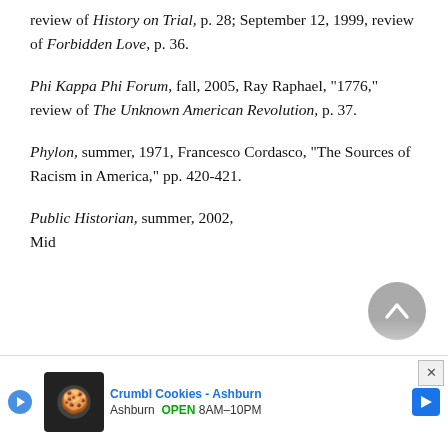review of History on Trial, p. 28; September 12, 1999, review of Forbidden Love, p. 36.
Phi Kappa Phi Forum, fall, 2005, Ray Raphael, "1776," review of The Unknown American Revolution, p. 37.
Phylon, summer, 1971, Francesco Cordasco, "The Sources of Racism in America," pp. 420-421.
Public Historian, summer, 2002, Mid...